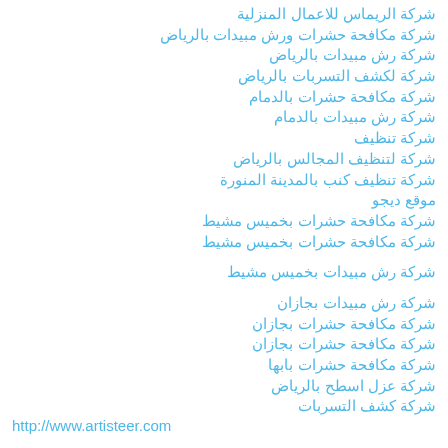شركة الريماس للاعمال المنزلية
شركة مكافحة حشرات ورش مبيدات بالرياض
شركة رش مبيدات بالرياض
شركة لكشف التسربات بالرياض
شركة مكافحة حشرات بالدمام
شركة رش مبيدات بالدمام
شركة تنظيف
شركة لتنظيف المجالس بالرياض
شركة تنظيف كنب بالمدينة المنورة
موقع ديجو
شركة مكافحة حشرات بخميس مشيط
شركة مكافحة حشرات بخميس مشيط
شركة رش مبيدات بخميس مشيط
شركة رش مبيدات بجازان
شركة مكافحة حشرات بجازان
شركة مكافحة حشرات بجازان
شركة مكافحة حشرات بابها
شركة عزل اسطح بالرياض
شركة كشف التسربات
http://www.artisteer.com